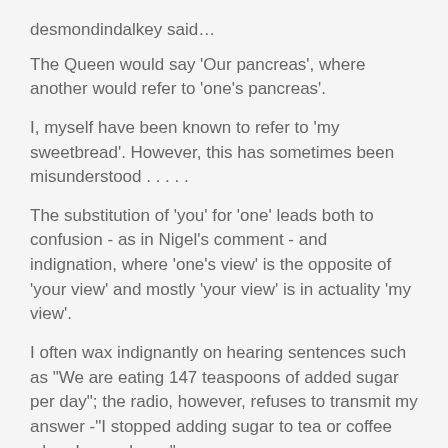desmondindalkey said…
The Queen would say 'Our pancreas', where another would refer to 'one's pancreas'.
I, myself have been known to refer to 'my sweetbread'. However, this has sometimes been misunderstood . . . . .
The substitution of 'you' for 'one' leads both to confusion - as in Nigel's comment - and indignation, where 'one's view' is the opposite of 'your view' and mostly 'your view' is in actuality 'my view'.
I often wax indignantly on hearing sentences such as "We are eating 147 teaspoons of added sugar per day"; the radio, however, refuses to transmit my answer -"I stopped adding sugar to tea or coffee when I was eleven".
" . . . there's the (lack of) respect
There's also uncertainty from their life"